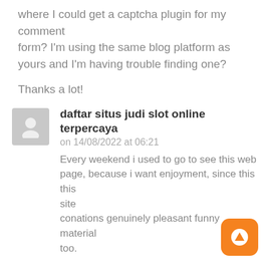where I could get a captcha plugin for my comment form? I'm using the same blog platform as yours and I'm having trouble finding one?
Thanks a lot!
daftar situs judi slot online terpercaya
on 14/08/2022 at 06:21
Every weekend i used to go to see this web page, because i want enjoyment, since this this site conations genuinely pleasant funny material too.
slot deposit pulsa tanpa potongan
14/08/2022 at 07:22